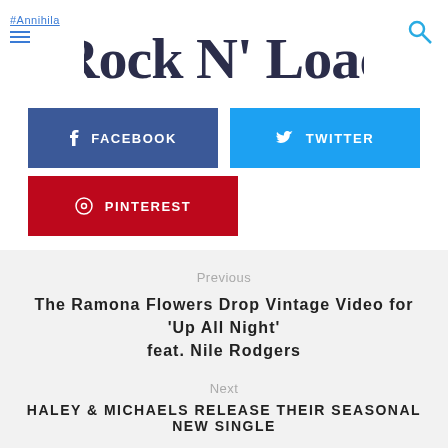#Annihila — Rock N' Load
[Figure (logo): Rock N' Load logo in decorative serif font with dark navy color]
f  FACEBOOK
🐦  TWITTER
⊕  PINTEREST
Previous
The Ramona Flowers Drop Vintage Video for 'Up All Night' feat. Nile Rodgers
Next
HALEY & MICHAELS RELEASE THEIR SEASONAL NEW SINGLE